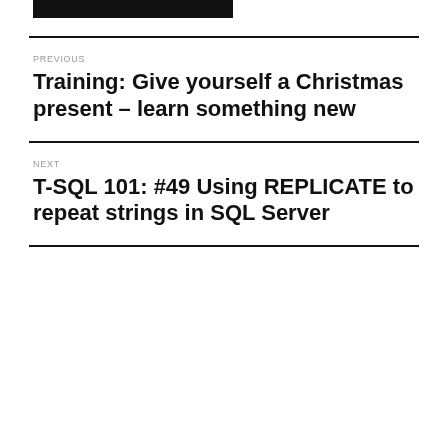[Figure (other): Black bar at top of page]
PREVIOUS
Training: Give yourself a Christmas present – learn something new
NEXT
T-SQL 101: #49 Using REPLICATE to repeat strings in SQL Server